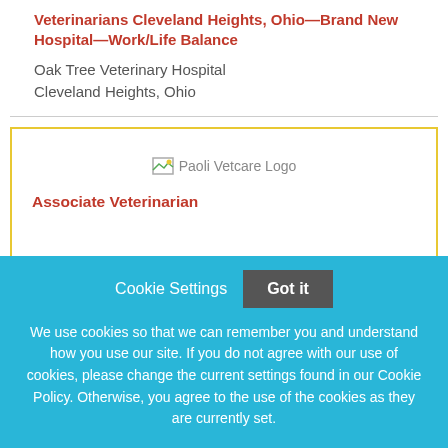Veterinarians Cleveland Heights, Ohio—Brand New Hospital—Work/Life Balance
Oak Tree Veterinary Hospital
Cleveland Heights, Ohio
[Figure (logo): Paoli Vetcare Logo placeholder image]
Associate Veterinarian
Cookie Settings   Got it

We use cookies so that we can remember you and understand how you use our site. If you do not agree with our use of cookies, please change the current settings found in our Cookie Policy. Otherwise, you agree to the use of the cookies as they are currently set.